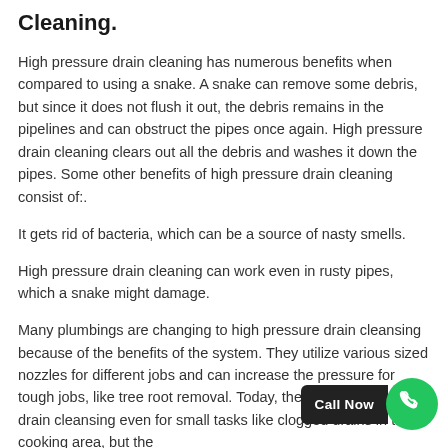Cleaning.
High pressure drain cleaning has numerous benefits when compared to using a snake. A snake can remove some debris, but since it does not flush it out, the debris remains in the pipelines and can obstruct the pipes once again. High pressure drain cleaning clears out all the debris and washes it down the pipes. Some other benefits of high pressure drain cleaning consist of:.
It gets rid of bacteria, which can be a source of nasty smells.
High pressure drain cleaning can work even in rusty pipes, which a snake might damage.
Many plumbings are changing to high pressure drain cleansing because of the benefits of the system. They utilize various sized nozzles for different jobs and can increase the pressure for tough jobs, like tree root removal. Today, they use high pressure drain cleansing even for small tasks like clogged drains in the cooking area, but the